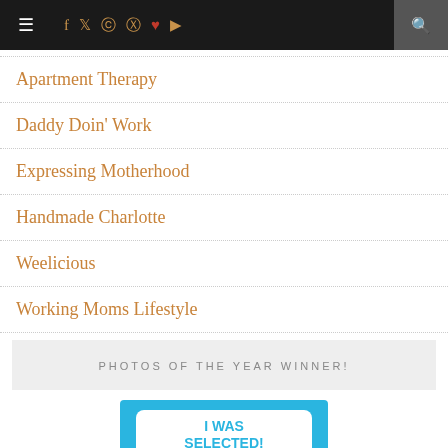Navigation bar with hamburger menu, social icons (Facebook, Twitter, Instagram, Pinterest, Bloglovin, YouTube), and search
Apartment Therapy
Daddy Doin' Work
Expressing Motherhood
Handmade Charlotte
Weelicious
Working Moms Lifestyle
PHOTOS OF THE YEAR WINNER!
[Figure (logo): Blue badge reading 'I WAS SELECTED! PHOTOS OF THE YEAR' with camera icon and speech bubble design]